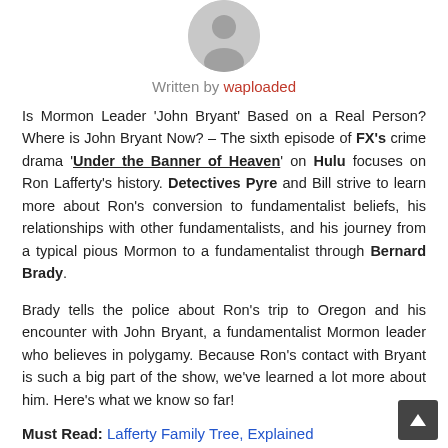[Figure (illustration): Circular grey avatar/profile picture placeholder with a generic user silhouette icon]
Written by waploaded
Is Mormon Leader ‘John Bryant’ Based on a Real Person? Where is John Bryant Now? – The sixth episode of FX’s crime drama ‘Under the Banner of Heaven’ on Hulu focuses on Ron Lafferty’s history. Detectives Pyre and Bill strive to learn more about Ron’s conversion to fundamentalist beliefs, his relationships with other fundamentalists, and his journey from a typical pious Mormon to a fundamentalist through Bernard Brady.
Brady tells the police about Ron’s trip to Oregon and his encounter with John Bryant, a fundamentalist Mormon leader who believes in polygamy. Because Ron’s contact with Bryant is such a big part of the show, we’ve learned a lot more about him. Here’s what we know so far!
Must Read: Lafferty Family Tree, Explained